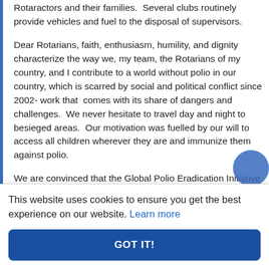Rotaractors and their families.  Several clubs routinely provide vehicles and fuel to the disposal of supervisors.
Dear Rotarians, faith, enthusiasm, humility, and dignity characterize the way we, my team, the Rotarians of my country, and I contribute to a world without polio in our country, which is scarred by social and political conflict since 2002- work that  comes with its share of dangers and challenges.  We never hesitate to travel day and night to besieged areas.  Our motivation was fuelled by our will to access all children wherever they are and immunize them against polio.
We are convinced that the Global Polio Eradication Initiative contributes to reduce poverty in Africa and
This website uses cookies to ensure you get the best experience on our website. Learn more
GOT IT!